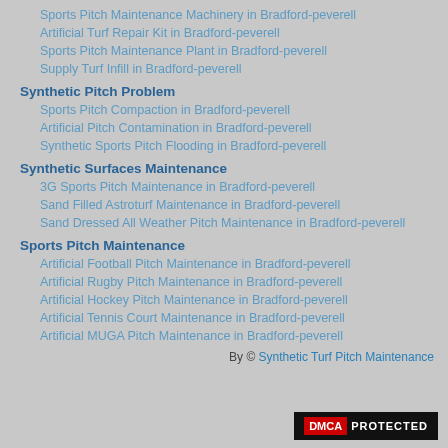Sports Pitch Maintenance Machinery in Bradford-peverell
Artificial Turf Repair Kit in Bradford-peverell
Sports Pitch Maintenance Plant in Bradford-peverell
Supply Turf Infill in Bradford-peverell
Synthetic Pitch Problem
Sports Pitch Compaction in Bradford-peverell
Artificial Pitch Contamination in Bradford-peverell
Synthetic Sports Pitch Flooding in Bradford-peverell
Synthetic Surfaces Maintenance
3G Sports Pitch Maintenance in Bradford-peverell
Sand Filled Astroturf Maintenance in Bradford-peverell
Sand Dressed All Weather Pitch Maintenance in Bradford-peverell
Sports Pitch Maintenance
Artificial Football Pitch Maintenance in Bradford-peverell
Artificial Rugby Pitch Maintenance in Bradford-peverell
Artificial Hockey Pitch Maintenance in Bradford-peverell
Artificial Tennis Court Maintenance in Bradford-peverell
Artificial MUGA Pitch Maintenance in Bradford-peverell
By © Synthetic Turf Pitch Maintenance